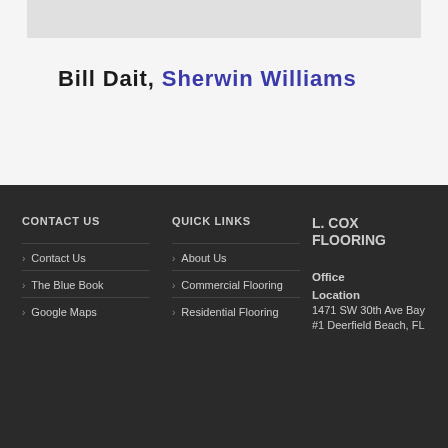Bill Dait, Sherwin Williams
CONTACT US
Contact Us
The Blue Book
Google Maps
QUICK LINKS
About Us
Commercial Flooring
Residential Flooring
L. COX FLOORING
Office Location 1471 SW 30th Ave Bay #1 Deerfield Beach, FL